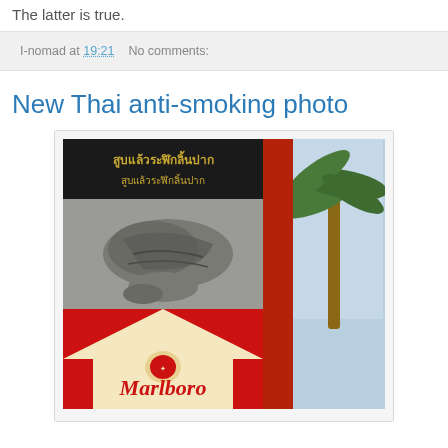The latter is true.
I-nomad at 19:21   No comments:
New Thai anti-smoking photo
[Figure (photo): Photo of a large Marlboro cigarette pack sign with Thai anti-smoking warning text and a graphic warning image showing a diseased organ, with a palm tree visible in the background against a blue sky.]